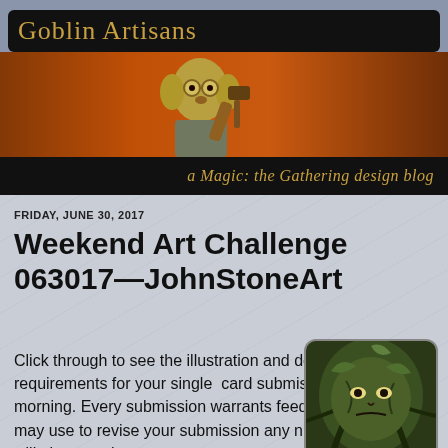[Figure (illustration): Goblin Artisans blog header with goblin character illustration on orange-red background, with site title banner and subtitle banner]
Goblin Artisans — a Magic: the Gathering design blog
FRIDAY, JUNE 30, 2017
Weekend Art Challenge 063017—JohnStoneArt
Click through to see the illustration and design requirements for your single  card submission, due Monday morning. Every submission warrants feedback, which you may use to revise your submission any number of times. I will aim to review
[Figure (illustration): Card art featuring a tree-like face creature, labeled 'Jay' at the bottom]